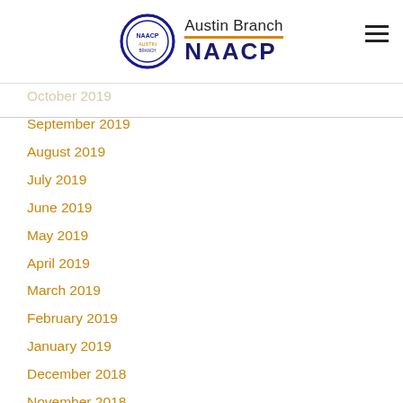Austin Branch NAACP
October 2019
September 2019
August 2019
July 2019
June 2019
May 2019
April 2019
March 2019
February 2019
January 2019
December 2018
November 2018
October 2018
September 2018
August 2018
July 2018
June 2018